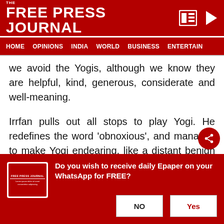THE FREE PRESS JOURNAL
HOME   OPINIONS   INDIA   WORLD   BUSINESS   ENTERTAIN
we avoid the Yogis, although we know they are helpful, kind, generous, considerate and well-meaning.
Irrfan pulls out all stops to play Yogi. He redefines the word 'obnoxious', and manages to make Yogi endearing, like a distant benign loud and crass cousin who makes politically incorrect ambivalently sexist comments sound plausible and acceptable. I doubt any actor, except Irrfan, could have played Yogi so
Do you wish to receive daily Epaper on your WhatsApp for FREE?